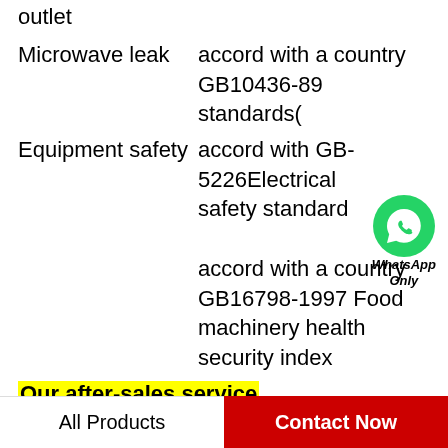outlet
| Microwave leak | accord with a country GB10436-89 standards( |
| Equipment safety | accord with GB-5226Electrical safety standard
accord with a country GB16798-1997 Food machinery health security index |
[Figure (logo): WhatsApp icon - green circle with phone handset, labeled WhatsApp Only]
Our after-sales service
For the whole equipment,warranty is 12 months,within 12 months,if have equipment quality problems,we will provide accessories freely. After the
All Products    Contact Now